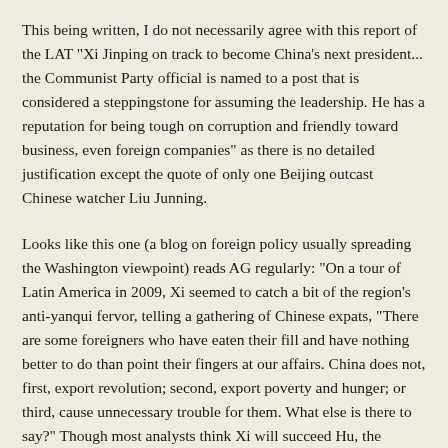This being written, I do not necessarily agree with this report of the LAT "Xi Jinping on track to become China's next president... the Communist Party official is named to a post that is considered a steppingstone for assuming the leadership. He has a reputation for being tough on corruption and friendly toward business, even foreign companies" as there is no detailed justification except the quote of only one Beijing outcast Chinese watcher Liu Junning.
Looks like this one (a blog on foreign policy usually spreading the Washington viewpoint) reads AG regularly: "On a tour of Latin America in 2009, Xi seemed to catch a bit of the region's anti-yanqui fervor, telling a gathering of Chinese expats, "There are some foreigners who have eaten their fill and have nothing better to do than point their fingers at our affairs. China does not, first, export revolution; second, export poverty and hunger; or third, cause unnecessary trouble for them. What else is there to say?" Though most analysts think Xi will succeed Hu, the appointment probably won't end the speculation over his putative rival Li Keqiang, a close protégé of Hu's with deep ties to the powerful Communist Youth League. Li's faction doesn't think much of the princelings, though there doesn't appear to be any rift between Xi and Li -- at least not one that has spilled into public view. Li is widely thought to be in line to succeed Wen Jiabao as premier, the No. 2 job in China's political system."